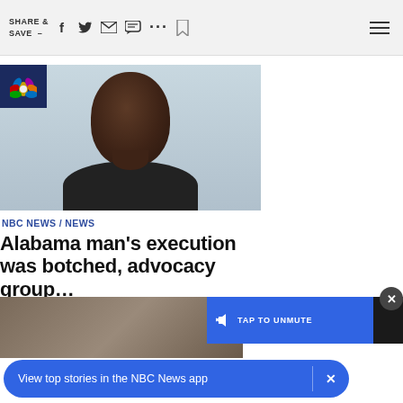SHARE & SAVE —
[Figure (photo): Headshot photo of a Black man, mugshot style, light blue/gray background. NBC News logo overlay in top-left corner.]
NBC NEWS / NEWS
Alabama man's execution was botched, advocacy group...
[Figure (screenshot): Video player overlay with TAP TO UNMUTE button in blue on dark background, with X close button]
[Figure (photo): Partial thumbnail of another news story at bottom of page]
View top stories in the NBC News app